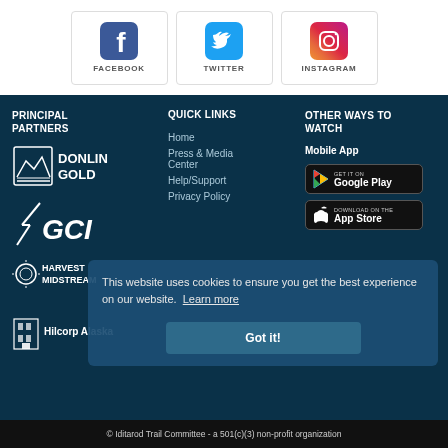[Figure (logo): Facebook icon with label FACEBOOK]
[Figure (logo): Twitter icon with label TWITTER]
[Figure (logo): Instagram icon with label INSTAGRAM]
PRINCIPAL PARTNERS
[Figure (logo): Donlin Gold logo]
[Figure (logo): GCI logo]
[Figure (logo): Harvest Midstream logo]
[Figure (logo): Hilcorp Alaska logo]
QUICK LINKS
Home
Press & Media Center
Help/Support
Privacy Policy
OTHER WAYS TO WATCH
Mobile App
[Figure (logo): Get it on Google Play button]
[Figure (logo): Download on the App Store button]
This website uses cookies to ensure you get the best experience on our website.  Learn more
Got it!
© Iditarod Trail Committee - a 501(c)(3) non-profit organization